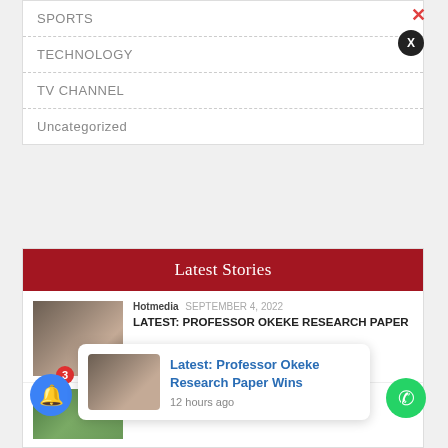SPORTS
TECHNOLOGY
TV CHANNEL
Uncategorized
Latest Stories
Hotmedia  SEPTEMBER 4, 2022
LATEST: PROFESSOR OKEKE RESEARCH PAPER
Hotmedia  SEPTEMBER 4, 2022
2023: SDP PRESIDENTIAL CANDIDATE,
[Figure (screenshot): Notification popup showing: Latest: Professor Okeke Research Paper Wins, 12 hours ago]
12 hours ago